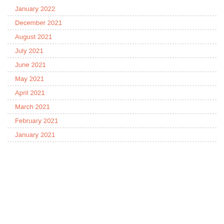January 2022
December 2021
August 2021
July 2021
June 2021
May 2021
April 2021
March 2021
February 2021
January 2021